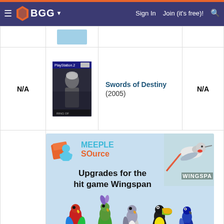BGG — Sign In  Join (it's free)!
| Rank | Image | Title | Rating |
| --- | --- | --- | --- |
| N/A | [image] | Swords of Destiny (2005) | N/A |
[Figure (screenshot): Meeple Source advertisement banner: 'Upgrades for the hit game Wingspan' with colorful wooden bird meeples]
|  |  |  |  |